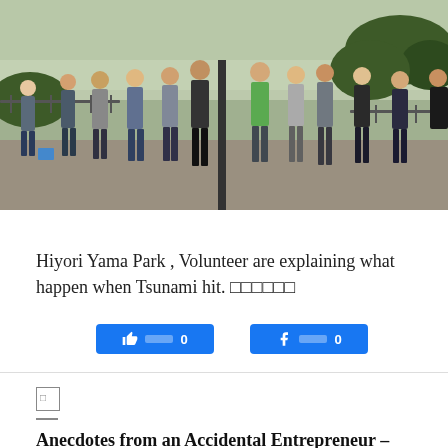[Figure (photo): Outdoor photo at Hiyori Yama Park showing a group of people standing on a paved area near a railing overlooking water. A volunteer appears to be explaining something to the gathered crowd. Trees and a bridge or water body visible in background.]
Hiyori Yama Park , Volunteer are explaining what happen when Tsunami hit. □□□□□□
[Figure (other): Two social sharing buttons: a thumbs-up (like) button showing count 0, and a Facebook share button showing count 0]
[Figure (other): Small broken image icon placeholder for next article thumbnail]
Anecdotes from an Accidental Entrepreneur – The